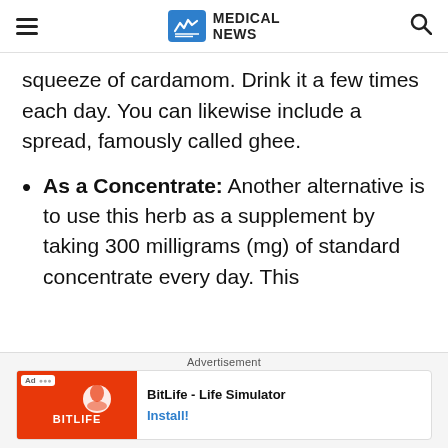MEDICAL NEWS
squeeze of cardamom. Drink it a few times each day. You can likewise include a spread, famously called ghee.
As a Concentrate: Another alternative is to use this herb as a supplement by taking 300 milligrams (mg) of standard concentrate every day. This
Advertisement
BitLife - Life Simulator
Install!